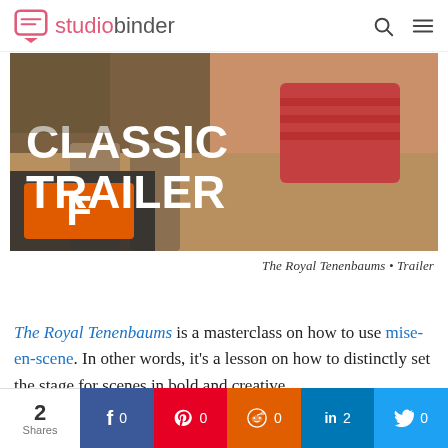studiobinder
[Figure (screenshot): Video thumbnail showing 'CLASSIC TRAILER' text overlay with a play button and Fandango logo on a scene from The Royal Tenenbaums]
The Royal Tenenbaums • Trailer
The Royal Tenenbaums is a masterclass on how to use mise-en-scene. In other words, it's a lesson on how to distinctly set the stage for scenes in bold and creative
2 Shares  f 0  p 0  reddit 0  in 2  t 0